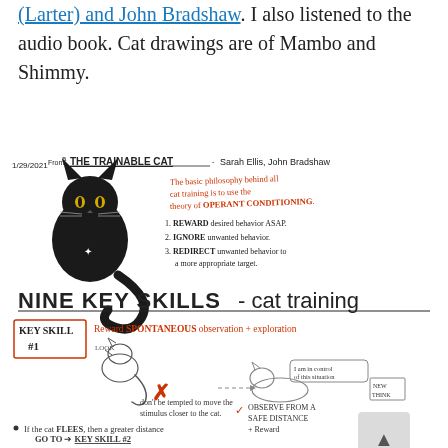(Larter) and John Bradshaw. I also listened to the audio book. Cat drawings are of Mambo and Shimmy.
[Figure (illustration): Handwritten sketchnote dated 1/29/2021, from 'THE TRAINABLE CAT' by Sarah Ellis & John Bradshaw. Features a drawing of a black cat, red handwritten text about the basic philosophy behind cat training: the theory of OPERANT CONDITIONING. Lists: 1. REWARD desired behavior ASAP. 2. IGNORE unwanted behavior. 3. REDIRECT unwanted behavior to a more appropriate target. Below is a large heading 'NINE KEY SKILLS - cat training'. Then KEY SKILL #1 box: 'Reward SPONTANEOUS observation + exploration' with cat sketches, a red X for wrong approach, and notes about observing from a safe distance + Reward. Bullet points: If the cat FLEES, then a greater distance GO TO KEY SKILL #2. If cat LOOKS and IGNORES, go to KEY SKILL #3.]